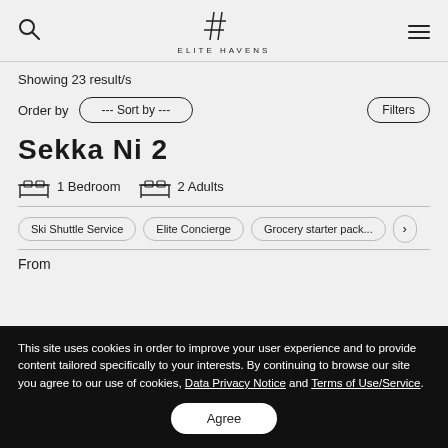ELITE HAVENS
Showing 23 result/s
Order by  --- Sort by ---  Filters
Sekka Ni 2
1 Bedroom  2 Adults
Ski Shuttle Service
Elite Concierge
Grocery starter pack...
From
This site uses cookies in order to improve your user experience and to provide content tailored specifically to your interests. By continuing to browse our site you agree to our use of cookies, Data Privacy Notice and Terms of Use/Service.